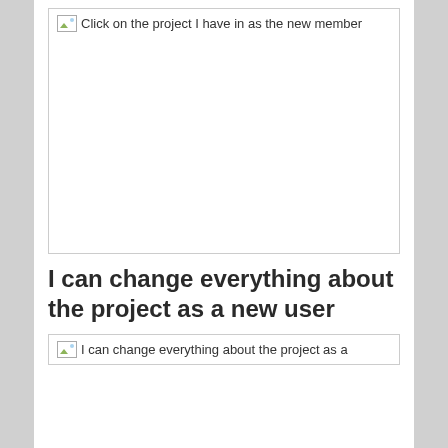[Figure (screenshot): Broken image placeholder with label 'Click on the project I have in as the new member'. Large empty white area below the label within a bordered box.]
I can change everything about the project as a new user
[Figure (screenshot): Broken image placeholder with label 'I can change everything about the project as a'. Content is cut off at the bottom of the page.]